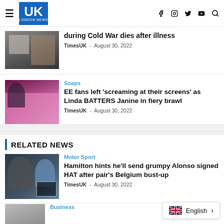UK LONDON NEWS
during Cold War dies after illness
TimesUK - August 30, 2022
Soaps
EE fans left 'screaming at their screens' as Linda BATTERS Janine in fiery brawl
TimesUK - August 30, 2022
RELATED NEWS
Motor Sport
Hamilton hints he'll send grumpy Alonso signed HAT after pair's Belgium bust-up
TimesUK - August 30, 2022
Business